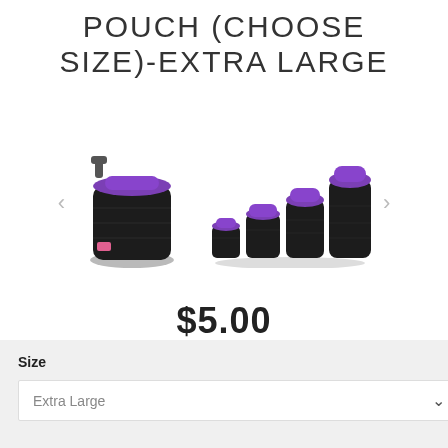POUCH (CHOOSE SIZE)-EXTRA LARGE
[Figure (photo): Product photos of black neoprene camera lens pouches with purple trim. Left: single large pouch. Right: four pouches in graduating sizes (small to extra large).]
$5.00
IN STOCK
Size
Extra Large